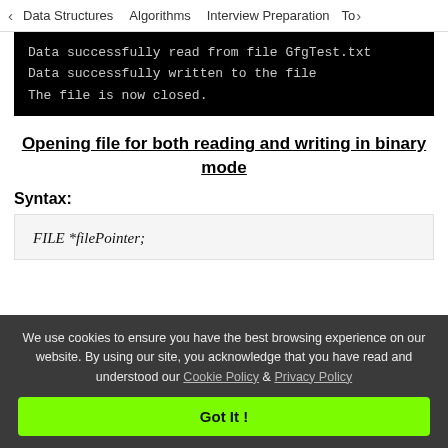< Data Structures   Algorithms   Interview Preparation   To>
[Figure (screenshot): Terminal/console output showing: 'Data successfully read from file GfgTest.txt', 'Data successfully written to the file', 'The file is now closed.']
Opening file for both reading and writing in binary mode
Syntax:
FILE *filePointer;
We use cookies to ensure you have the best browsing experience on our website. By using our site, you acknowledge that you have read and understood our Cookie Policy & Privacy Policy
Got It !